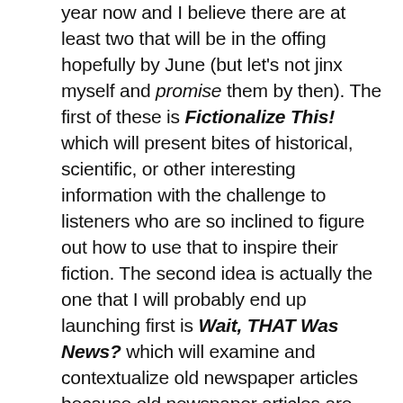year now and I believe there are at least two that will be in the offing hopefully by June (but let's not jinx myself and promise them by then). The first of these is Fictionalize This! which will present bites of historical, scientific, or other interesting information with the challenge to listeners who are so inclined to figure out how to use that to inspire their fiction. The second idea is actually the one that I will probably end up launching first is Wait, THAT Was News? which will examine and contextualize old newspaper articles because old newspaper articles are wild. If you've never read any, you're in for a treat.

This is, of course, in addition to all of the writing I do–both fictional work and academic. Expect to see more of that from me this year, and also expect (again, hopefully by summer) the release of the next UNSETIC Files book, Lost and Found. It's still in the editing stages, but that should be done in the next few months. Last year for